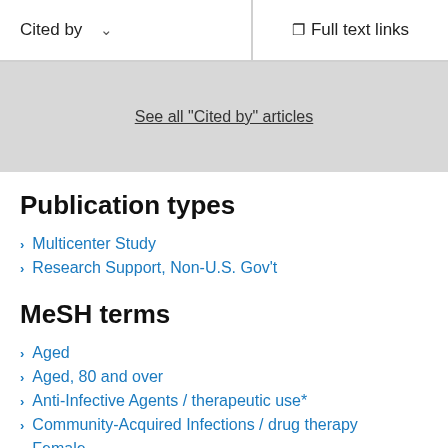Cited by   Full text links
See all "Cited by" articles
Publication types
Multicenter Study
Research Support, Non-U.S. Gov't
MeSH terms
Aged
Aged, 80 and over
Anti-Infective Agents / therapeutic use*
Community-Acquired Infections / drug therapy
Female